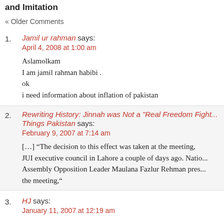and Imitation
« Older Comments
1. Jamil ur rahman says:
April 4, 2008 at 1:00 am

Aslamolkam
I am jamil rahman habibi .
ok
i need information about inflation of pakistan
2. Rewriting History: Jinnah was Not a "Real Freedom Fight... Things Pakistan says:
February 9, 2007 at 7:14 am

[...] “The decision to this effect was taken at the meeting, JUI executive council in Lahore a couple of days ago. Natio... Assembly Opposition Leader Maulana Fazlur Rehman pres... the meeting,“
3. HJ says:
January 11, 2007 at 12:19 am